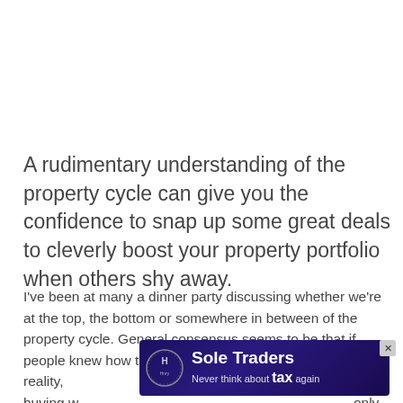A rudimentary understanding of the property cycle can give you the confidence to snap up some great deals to cleverly boost your property portfolio when others shy away.
I've been at many a dinner party discussing whether we're at the top, the bottom or somewhere in between of the property cycle. General consensus seems to be that if people knew how to track it, they'd be rich. However, in reality, [ad] buying w[ad] only
[Figure (other): Advertisement banner for 'Sole Traders' by Hnry — 'Never think about tax again' with a logo (H in circle) and a photo of a woman. Has a close (X) button.]